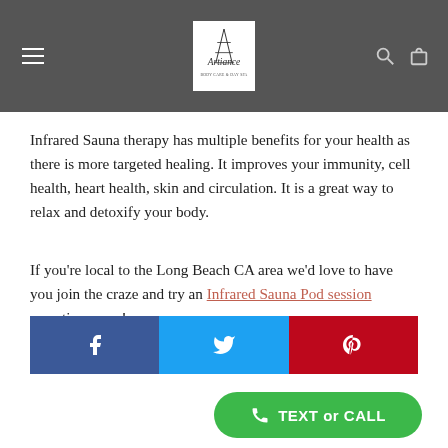Artiance — navigation bar with logo, menu, search, and cart icons
Infrared Sauna therapy has multiple benefits for your health as there is more targeted healing. It improves your immunity, cell health, heart health, skin and circulation. It is a great way to relax and detoxify your body.
If you're local to the Long Beach CA area we'd love to have you join the craze and try an Infrared Sauna Pod session sometime soon!
[Figure (infographic): Social share bar with Facebook (blue), Twitter (light blue), and Pinterest (red) icons]
[Figure (infographic): Green rounded CTA button with phone icon and text 'TEXT or CALL']